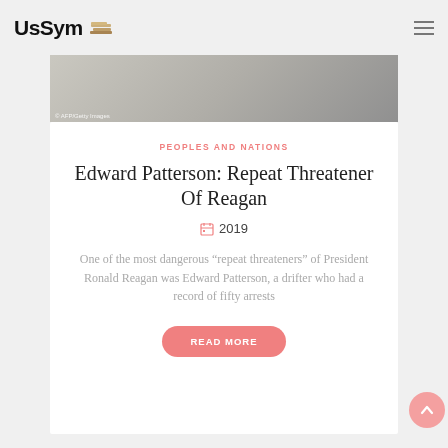UsSym
[Figure (photo): Partial hero image of a scene, with AFP/Getty Images watermark visible at bottom left]
PEOPLES AND NATIONS
Edward Patterson: Repeat Threatener Of Reagan
2019
One of the most dangerous “repeat threateners” of President Ronald Reagan was Edward Patterson, a drifter who had a record of fifty arrests
READ MORE